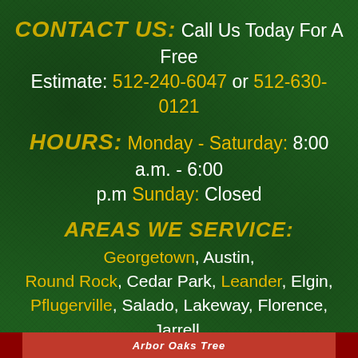CONTACT US: Call Us Today For A Free Estimate: 512-240-6047 or 512-630-0121
HOURS: Monday - Saturday: 8:00 a.m. - 6:00 p.m Sunday: Closed
AREAS WE SERVICE: Georgetown, Austin, Round Rock, Cedar Park, Leander, Elgin, Pflugerville, Salado, Lakeway, Florence, Jarrell, Liberty Hill, Hutto, Leander, Lampasas, Bertram, Burnet, Taylor, Granger
[Figure (illustration): Facebook and Google+ social media icon buttons (round circles with f and g+ logos)]
Arbor Oaks Tree